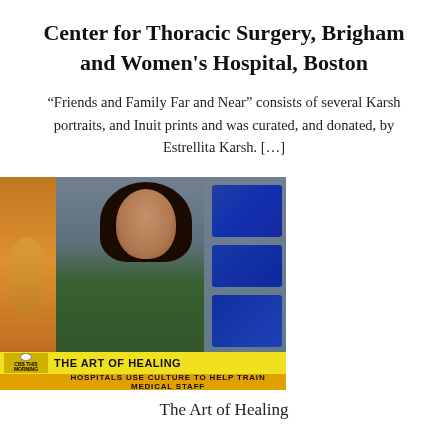Center for Thoracic Surgery, Brigham and Women's Hospital, Boston
“Friends and Family Far and Near” consists of several Karsh portraits, and Inuit prints and was curated, and donated, by Estrellita Karsh. […]
[Figure (photo): CBS This Morning TV screenshot showing a female news anchor in a green dress at a studio desk, with the lower-third graphic reading 'THE ART OF HEALING' and subtitle 'HOSPITALS USE CULTURE TO HELP TRAIN MEDICAL STAFF']
The Art of Healing